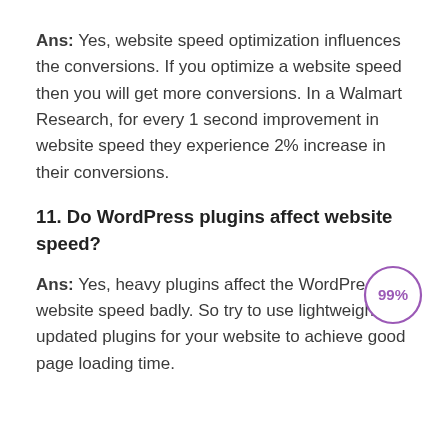Ans: Yes, website speed optimization influences the conversions. If you optimize a website speed then you will get more conversions. In a Walmart Research, for every 1 second improvement in website speed they experience 2% increase in their conversions.
11. Do WordPress plugins affect website speed?
Ans: Yes, heavy plugins affect the WordPress website speed badly. So try to use lightweight and updated plugins for your website to achieve good page loading time.